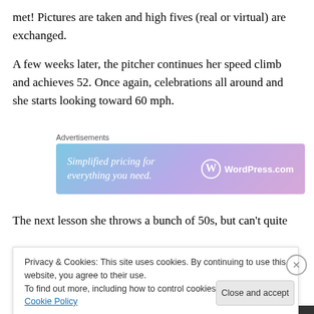met! Pictures are taken and high fives (real or virtual) are exchanged.
A few weeks later, the pitcher continues her speed climb and achieves 52. Once again, celebrations all around and she starts looking toward 60 mph.
[Figure (screenshot): WordPress.com advertisement banner: 'Simplified pricing for everything you need.' with WordPress.com logo]
The next lesson she throws a bunch of 50s, but can't quite
Privacy & Cookies: This site uses cookies. By continuing to use this website, you agree to their use.
To find out more, including how to control cookies, see here: Cookie Policy